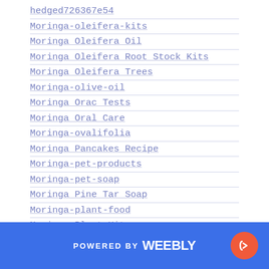hedged726367e54
Moringa-oleifera-kits
Moringa Oleifera Oil
Moringa Oleifera Root Stock Kits
Moringa Oleifera Trees
Moringa-olive-oil
Moringa Orac Tests
Moringa Oral Care
Moringa-ovalifolia
Moringa Pancakes Recipe
Moringa-pet-products
Moringa-pet-soap
Moringa Pine Tar Soap
Moringa-plant-food
Moringa Plant Kits
Moringa-plant-products
POWERED BY weebly